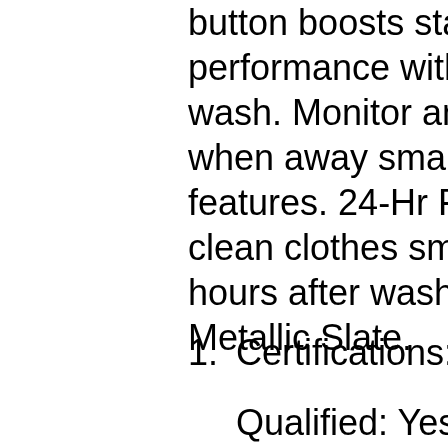button boosts stain-fighting performance with dual-te wash. Monitor and contro when away smart washing features. 24-Hr Fresh Ho clean clothes smelling fre hours after wash cycles e Metallic Slate.
1. Certifications: Energy Qualified: Yes. UL: Ye